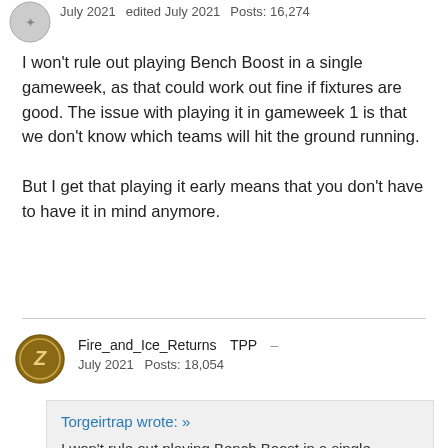July 2021   edited July 2021   Posts: 16,274
I won't rule out playing Bench Boost in a single gameweek, as that could work out fine if fixtures are good. The issue with playing it in gameweek 1 is that we don't know which teams will hit the ground running.

But I get that playing it early means that you don't have to have it in mind anymore.
Fire_and_Ice_Returns   TPP  –
July 2021   Posts: 18,054
Torgeirtrap wrote: »
I won't rule out playing Bench Boost in a single gameweek, as that could work out fine if fixtures are good. The issue with playing it in gameweek 1 is that we don't know which teams will hit the ground running.

But I get that playing it early means that you don't have